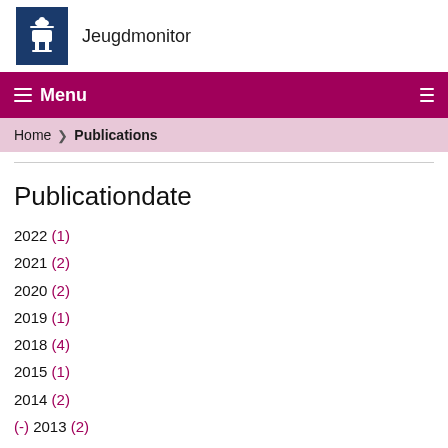Jeugdmonitor
☰ Menu
Home ❯ Publications
Publicationdate
2022 (1)
2021 (2)
2020 (2)
2019 (1)
2018 (4)
2015 (1)
2014 (2)
(-) 2013 (2)
(-) 2011 (1)
(-) 2009 (2)